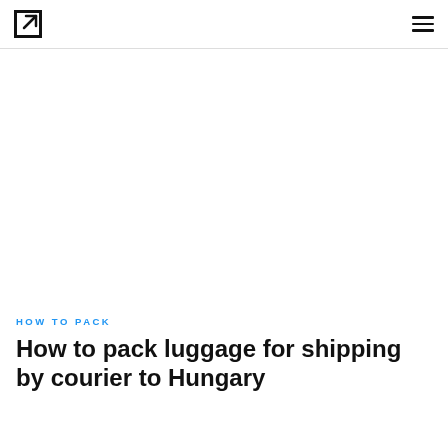[logo icon] [hamburger menu]
[Figure (photo): Large white/blank image area (article hero image placeholder)]
HOW TO PACK
How to pack luggage for shipping by courier to Hungary